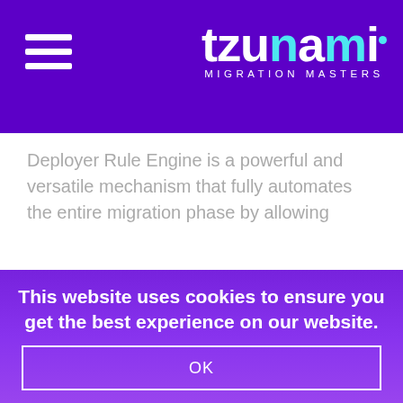tzunami MIGRATION MASTERS
Deployer Rule Engine is a powerful and versatile mechanism that fully automates the entire migration phase by allowing
[Figure (screenshot): Server rack hardware with purple overlay, showing 'Discover how our Migration Solutions' text overlaid]
This website uses cookies to ensure you get the best experience on our website.
OK